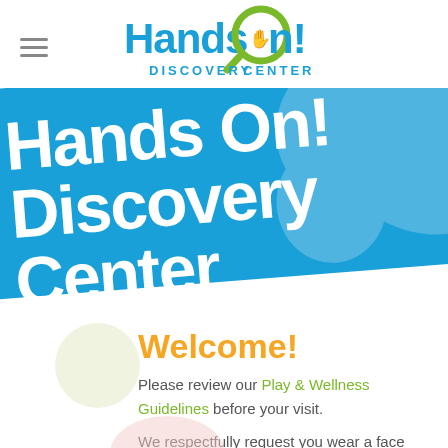[Figure (logo): Hands On! Discovery Center logo with magnifying glass icon, blue and green colors]
[Figure (illustration): Blue diagonal banner with large white bold text reading 'Hands On! Discovery Center' and a light blue world map silhouette in the background]
Welcome!
Please review our Play & Wellness Guidelines before your visit.
We respectfully request you wear a face